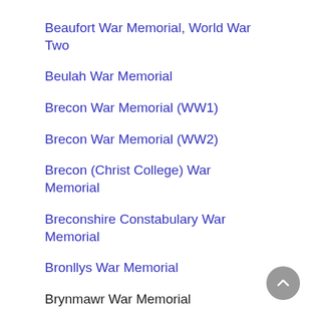Beaufort War Memorial, World War Two
Beulah War Memorial
Brecon War Memorial (WW1)
Brecon War Memorial (WW2)
Brecon (Christ College) War Memorial
Breconshire Constabulary War Memorial
Bronllys War Memorial
Brynmawr War Memorial
Builth Wells and Llanddewi'r Cwm War Memorial
Bwlch War Memorial